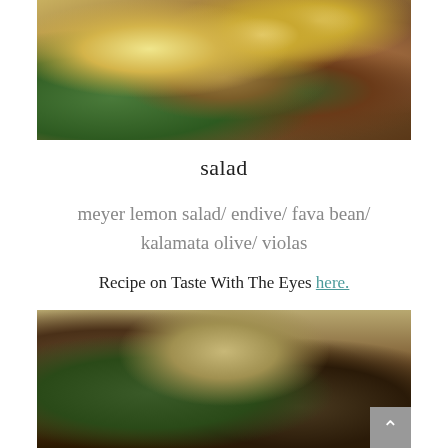[Figure (photo): A decorated plate with a salad featuring lemon slices, purple viola flowers, dark olives, fava beans, and green leaves on a red patterned dish]
salad
meyer lemon salad/ endive/ fava bean/ kalamata olive/ violas
Recipe on Taste With The Eyes here.
[Figure (photo): A plated dish with braised meat, bone marrow, and fresh herbs on a decorative red patterned tablecloth]